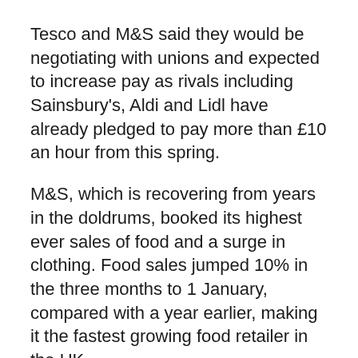Tesco and M&S said they would be negotiating with unions and expected to increase pay as rivals including Sainsbury's, Aldi and Lidl have already pledged to pay more than £10 an hour from this spring.
M&S, which is recovering from years in the doldrums, booked its highest ever sales of food and a surge in clothing. Food sales jumped 10% in the three months to 1 January, compared with a year earlier, making it the fastest growing food retailer in the UK.
Strong sales of bras, pajamas, jeans and activewear spurred on clothing sales, while food sales were boosted by shoppers buying